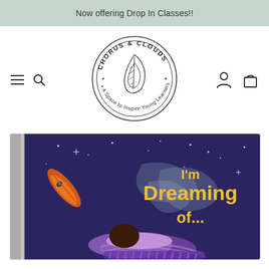Now offering Drop In Classes!!
[Figure (logo): Chorus & Clouds circular logo with a feather/leaf illustration and text 'A Space to Inspire Young Learners']
[Figure (photo): Children's book cover titled 'I'm Dreaming of...' showing an illustrated character sleeping on a dark purple/blue night sky background with stars and smoke swirls, with orange feather visible]